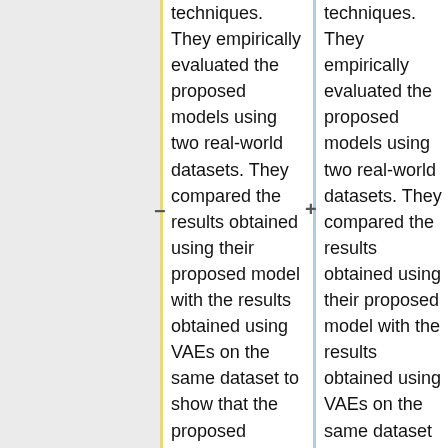techniques. They empirically evaluated the proposed models using two real-world datasets. They compared the results obtained using their proposed model with the results obtained using VAEs on the same dataset to show that the proposed models generate sample images of higher quality in addition to being easier to train and having good reconstruction
techniques. They empirically evaluated the proposed models using two real-world datasets. They compared the results obtained using their proposed model with the results obtained using VAEs on the same dataset to show that the proposed models generate sample images of higher quality in addition to being easier to train and having good reconstruction